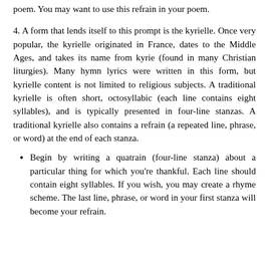poem. You may want to use this refrain in your poem.
4. A form that lends itself to this prompt is the kyrielle. Once very popular, the kyrielle originated in France, dates to the Middle Ages, and takes its name from kyrie (found in many Christian liturgies). Many hymn lyrics were written in this form, but kyrielle content is not limited to religious subjects. A traditional kyrielle is often short, octosyllabic (each line contains eight syllables), and is typically presented in four-line stanzas. A traditional kyrielle also contains a refrain (a repeated line, phrase, or word) at the end of each stanza.
Begin by writing a quatrain (four-line stanza) about a particular thing for which you're thankful. Each line should contain eight syllables. If you wish, you may create a rhyme scheme. The last line, phrase, or word in your first stanza will become your refrain.